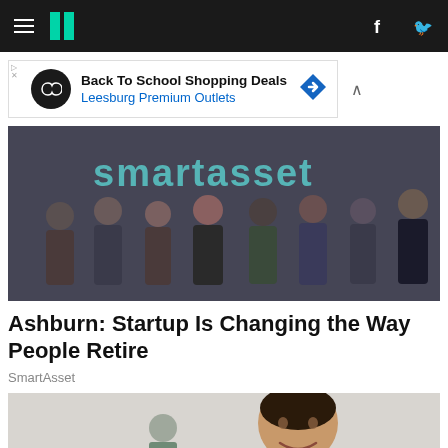HuffPost navigation bar with hamburger menu, logo, Facebook and Twitter icons
[Figure (photo): Advertisement banner: Back To School Shopping Deals – Leesburg Premium Outlets]
[Figure (photo): Group photo of SmartAsset team members standing in front of a SmartAsset branded wall]
Ashburn: Startup Is Changing the Way People Retire
SmartAsset
[Figure (photo): Woman smiling in a white room, another person in background]